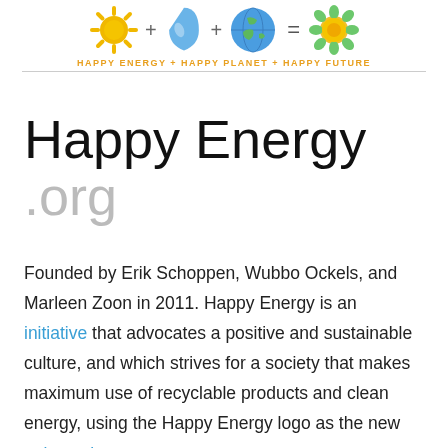[Figure (logo): Happy Energy logo: sun icon + water drop icon + earth globe icon = flower/sun icon, with text 'HAPPY ENERGY + HAPPY PLANET + HAPPY FUTURE' in orange below]
Happy Energy
.org
Founded by Erik Schoppen, Wubbo Ockels, and Marleen Zoon in 2011. Happy Energy is an initiative that advocates a positive and sustainable culture, and which strives for a society that makes maximum use of recyclable products and clean energy, using the Happy Energy logo as the new universal